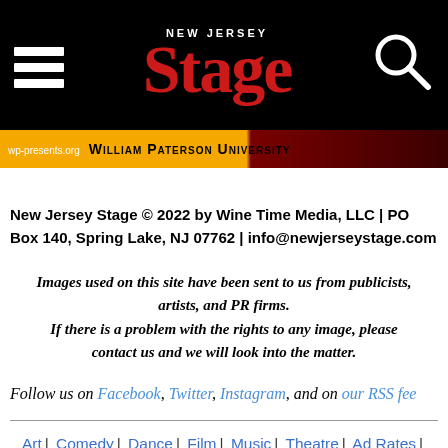[Figure (logo): New Jersey Stage website header with hamburger menu icon on left, New Jersey Stage logo in center (red serif text), and search/magnifying glass icon on right, all on black background]
[Figure (other): William Paterson University banner advertisement with wp-presents.org URL, orange and dark red background]
New Jersey Stage © 2022 by Wine Time Media, LLC | PO Box 140, Spring Lake, NJ 07762 | info@newjerseystage.com
Images used on this site have been sent to us from publicists, artists, and PR firms. If there is a problem with the rights to any image, please contact us and we will look into the matter.
Follow us on Facebook, Twitter, Instagram, and on our RSS feed
Art | Comedy | Dance | Film | Music | Theatre | Ad Rates | About Us | Pitch a Story | Links | Radio Shows